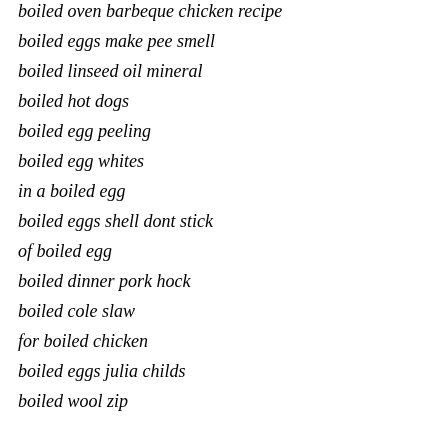boiled oven barbeque chicken recipe
boiled eggs make pee smell
boiled linseed oil mineral
boiled hot dogs
boiled egg peeling
boiled egg whites
in a boiled egg
boiled eggs shell dont stick
of boiled egg
boiled dinner pork hock
boiled cole slaw
for boiled chicken
boiled eggs julia childs
boiled wool zip